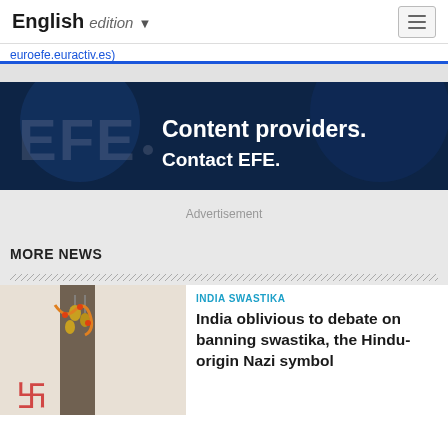English edition
euroefe.euractiv.es)
[Figure (illustration): EFE news agency advertisement banner with dark navy background. EFE logo in large faded white text on left. Text reads: Content providers. Contact EFE.]
Advertisement
MORE NEWS
[Figure (photo): Photo of decorative bells and swastika symbol hanging on a wall or door frame in India]
INDIA SWASTIKA
India oblivious to debate on banning swastika, the Hindu-origin Nazi symbol